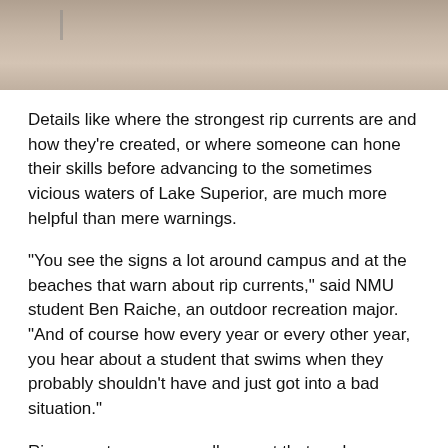[Figure (photo): Top portion of a beach/sandy shore scene, cropped, showing sand with some debris and a pole/post in the background.]
Details like where the strongest rip currents are and how they’re created, or where someone can hone their skills before advancing to the sometimes vicious waters of Lake Superior, are much more helpful than mere warnings.
“You see the signs a lot around campus and at the beaches that warn about rip currents,” said NMU student Ben Raiche, an outdoor recreation major. “And of course how every year or every other year, you hear about a student that swims when they probably shouldn’t have and just got into a bad situation.”
Rip currents — or a small current that work away from the shore — are attributed to nearly 32 incidences at Lake Superior as a whole since 2002. Eleven of tho…